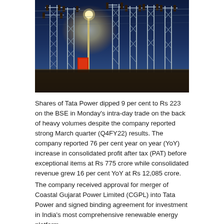[Figure (photo): Night-time photograph of an electrical power substation with tall steel lattice structures, transformers, and high-voltage equipment illuminated by a bright lamp against a dark blue sky.]
Shares of Tata Power dipped 9 per cent to Rs 223 on the BSE in Monday's intra-day trade on the back of heavy volumes despite the company reported strong March quarter (Q4FY22) results. The company reported 76 per cent year on year (YoY) increase in consolidated profit after tax (PAT) before exceptional items at Rs 775 crore while consolidated revenue grew 16 per cent YoY at Rs 12,085 crore.
The company received approval for merger of Coastal Gujarat Power Limited (CGPL) into Tata Power and signed binding agreement for investment in India's most comprehensive renewable energy platform